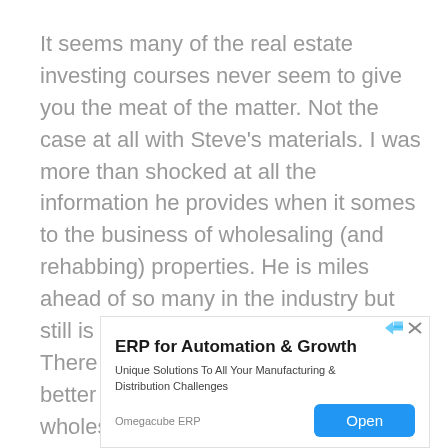It seems many of the real estate investing courses never seem to give you the meat of the matter. Not the case at all with Steve's materials. I was more than shocked at all the information he provides when it somes to the business of wholesaling (and rehabbing) properties. He is miles ahead of so many in the industry but still is a down to earth human being. There are not any better courses or a better website than his when it comes wholesaling real estate. Thanks for what you do and please keep teaching. Mitchell Tide, Knoxville, TN
[Figure (other): Advertisement banner for Omegacube ERP. Title: ERP for Automation & Growth. Description: Unique Solutions To All Your Manufacturing & Distribution Challenges. Brand: Omegacube ERP. Button: Open.]